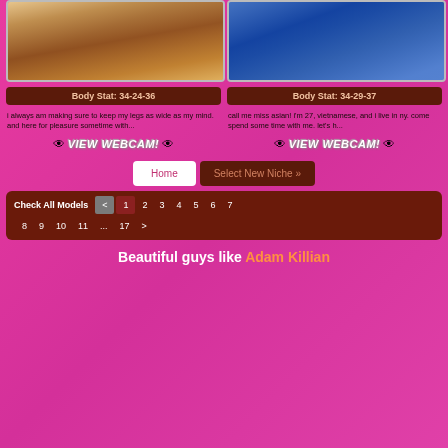[Figure (photo): Woman lying on floor with magazines/books, wooden floor background]
[Figure (photo): Woman in blue outfit posed on white background]
Body Stat: 34-24-36
Body Stat: 34-29-37
i always am making sure to keep my legs as wide as my mind. and here for pleasure sometime with...
call me miss asian! i'm 27, vietnamese, and i live in ny. come spend some time with me. let's h...
VIEW WEBCAM!
VIEW WEBCAM!
Home
Select New Niche »
Check All Models  <  1  2  3  4  5  6  7
8  9  10  11  ...  17  >
Beautiful guys like Adam Killian